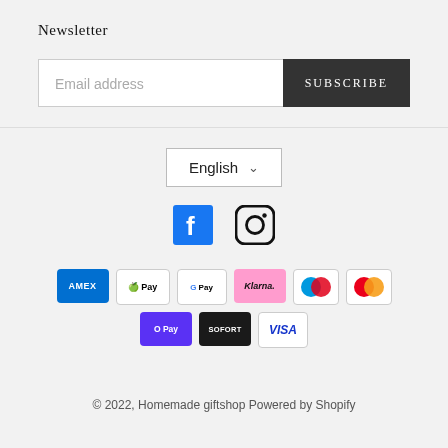Newsletter
Email address | SUBSCRIBE
[Figure (infographic): Language selector dropdown showing 'English' with chevron, social media icons for Facebook and Instagram, payment method logos: American Express, Apple Pay, Google Pay, Klarna, Maestro, Mastercard, Shop Pay (O Pay), Sofort, Visa]
© 2022, Homemade giftshop Powered by Shopify